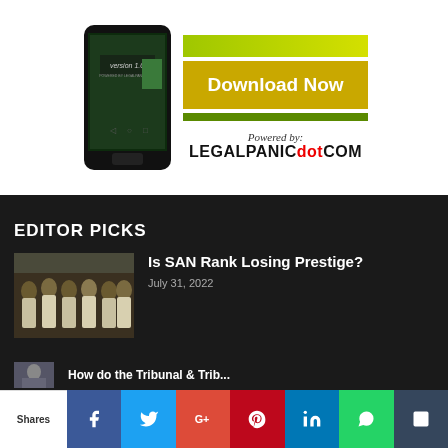[Figure (screenshot): App advertisement showing a smartphone with version 1.0 label and a Download Now button, powered by LegalPanic.com]
EDITOR PICKS
[Figure (photo): Group of people in formal/legal robes seated in rows]
Is SAN Rank Losing Prestige?
July 31, 2022
[Figure (photo): Partial thumbnail of another article]
How do the Tribunal & Trib...
Shares | Facebook | Twitter | Google+ | Pinterest | LinkedIn | WhatsApp | More